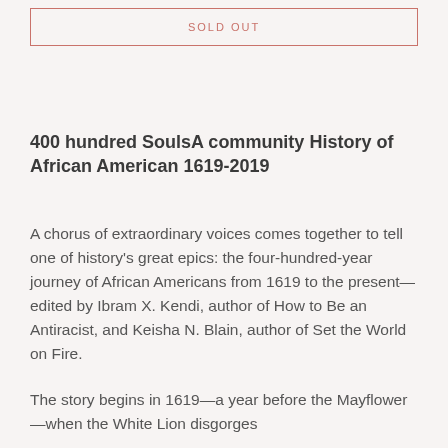SOLD OUT
400 hundred SoulsA community History of African American 1619-2019
A chorus of extraordinary voices comes together to tell one of history's great epics: the four-hundred-year journey of African Americans from 1619 to the present—edited by Ibram X. Kendi, author of How to Be an Antiracist, and Keisha N. Blain, author of Set the World on Fire.
The story begins in 1619—a year before the Mayflower—when the White Lion disgorges